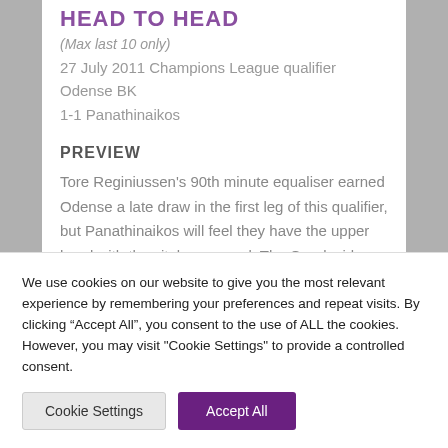HEAD TO HEAD
(Max last 10 only)
27 July 2011 Champions League qualifier Odense BK 1-1 Panathinaikos
PREVIEW
Tore Reginiussen's 90th minute equaliser earned Odense a late draw in the first leg of this qualifier, but Panathinaikos will feel they have the upper hand with the vital away goal. The Greek side have midfielder Sebastian Leto to thank after he gave the
We use cookies on our website to give you the most relevant experience by remembering your preferences and repeat visits. By clicking “Accept All”, you consent to the use of ALL the cookies. However, you may visit "Cookie Settings" to provide a controlled consent.